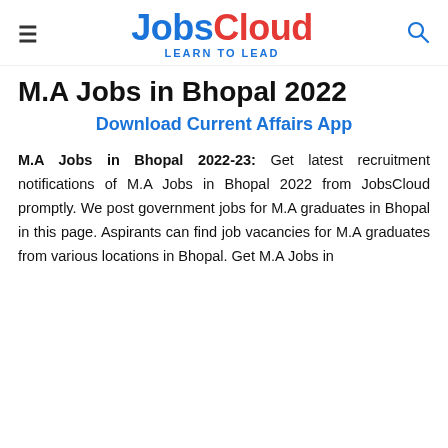JobsCloud LEARN TO LEAD
M.A Jobs in Bhopal 2022
Download Current Affairs App
M.A Jobs in Bhopal 2022-23: Get latest recruitment notifications of M.A Jobs in Bhopal 2022 from JobsCloud promptly. We post government jobs for M.A graduates in Bhopal in this page. Aspirants can find job vacancies for M.A graduates from various locations in Bhopal. Get M.A Jobs in